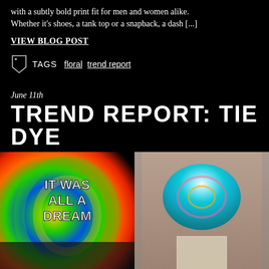with a subtly bold print fit for men and women alike. Whether it's shoes, a tank top or a snapback, a dash [...]
VIEW BLOG POST
TAGS  floral  trend report
June 11th
TREND REPORT: TIE DYE
[Figure (photo): Two photos side by side: left shows a person wearing a rainbow tie-dye t-shirt with text 'IT WAS ALL A DREAM', right shows a young man wearing a teal/turquoise spiral tie-dye t-shirt with printed shorts, standing against a wall.]